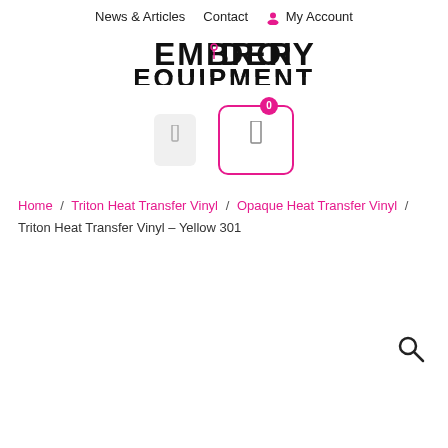News & Articles   Contact   My Account
[Figure (logo): Embroidery Equipment logo with stylized needle accent in pink on the letter O]
[Figure (other): Two icon buttons: a plain user/account icon box and a cart icon box with pink border and badge showing 0]
Home / Triton Heat Transfer Vinyl / Opaque Heat Transfer Vinyl / Triton Heat Transfer Vinyl – Yellow 301
[Figure (other): Search magnifying glass icon in bottom right]